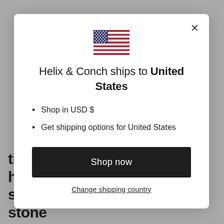[Figure (illustration): US flag emoji/icon centered above the modal title]
Helix & Conch ships to United States
Shop in USD $
Get shipping options for United States
Shop now
Change shipping country
tiny huggie hoop with bezel set solitaire stone